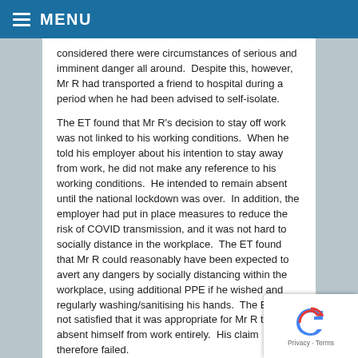MENU
considered there were circumstances of serious and imminent danger all around.  Despite this, however, Mr R had transported a friend to hospital during a period when he had been advised to self-isolate.
The ET found that Mr R's decision to stay off work was not linked to his working conditions.  When he told his employer about his intention to stay away from work, he did not make any reference to his working conditions.  He intended to remain absent until the national lockdown was over.  In addition, the employer had put in place measures to reduce the risk of COVID transmission, and it was not hard to socially distance in the workplace.  The ET found that Mr R could reasonably have been expected to avert any dangers by socially distancing within the workplace, using additional PPE if he wished and regularly washing/sanitising his hands.  The ET was not satisfied that it was appropriate for Mr R to absent himself from work entirely.  His claim therefore failed.
COMMENT
This decision is at Tribunal level and therefore not